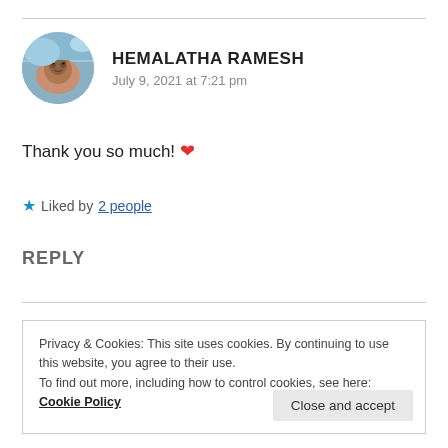[Figure (photo): Circular avatar photo of user Hemalatha Ramesh showing a bird against a blue sky background]
HEMALATHA RAMESH
July 9, 2021 at 7:21 pm
Thank you so much! ❤
★ Liked by 2 people
REPLY
Privacy & Cookies: This site uses cookies. By continuing to use this website, you agree to their use.
To find out more, including how to control cookies, see here: Cookie Policy